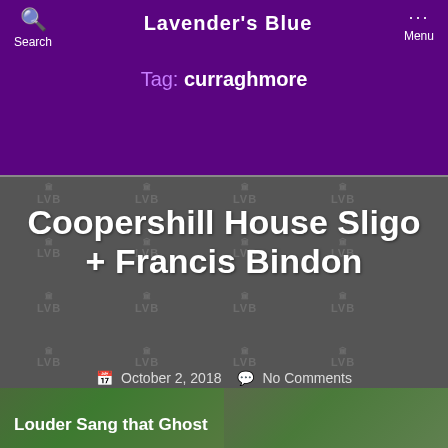Lavender's Blue
Tag: curraghmore
Coopershill House Sligo + Francis Bindon
October 2, 2018   No Comments
Louder Sang that Ghost
[Figure (photo): Outdoor photo strip showing trees and greenery, split into two halves]